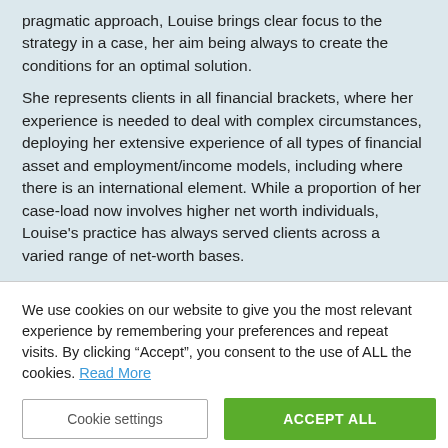pragmatic approach, Louise brings clear focus to the strategy in a case, her aim being always to create the conditions for an optimal solution.
She represents clients in all financial brackets, where her experience is needed to deal with complex circumstances, deploying her extensive experience of all types of financial asset and employment/income models, including where there is an international element. While a proportion of her case-load now involves higher net worth individuals, Louise's practice has always served clients across a varied range of net-worth bases.
We use cookies on our website to give you the most relevant experience by remembering your preferences and repeat visits. By clicking “Accept”, you consent to the use of ALL the cookies. Read More